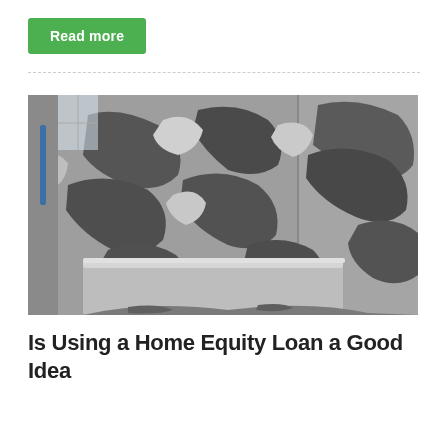Read more
[Figure (photo): Photo of a demolished or stripped bathroom interior showing peeling plaster and exposed concrete walls with a bathtub surround visible.]
Is Using a Home Equity Loan a Good Idea